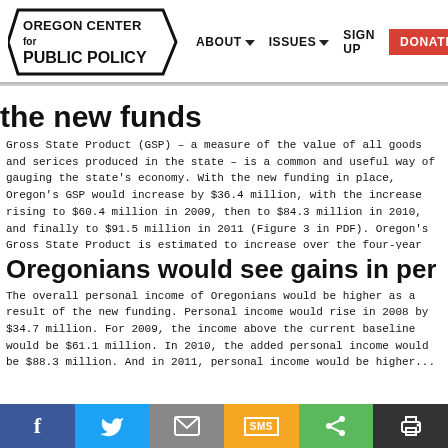Oregon Center for Public Policy | ABOUT | ISSUES | SIGN UP | DONATE
the new funds
Gross State Product (GSP) – a measure of the value of all goods and services produced in the state – is a common and useful way of gauging the state's economy. With the new funding in place, Oregon's GSP would increase by $36.4 million, with the increase rising to $60.4 million in 2009, then to $84.3 million in 2010, and finally to $91.5 million in 2011 (Figure 3 in PDF). Oregon's Gross State Product is estimated to increase over the four-year period by $272.5 million.
Oregonians would see gains in personal income
The overall personal income of Oregonians would be higher as a result of the new funding. Personal income would rise in 2008 by $34.7 million. For 2009, the income above the current baseline would be $61.1 million. In 2010, the added personal income would be $88.3 million. And in 2011, personal income would be higher...
f  Twitter  Email  SMS  Share  Print